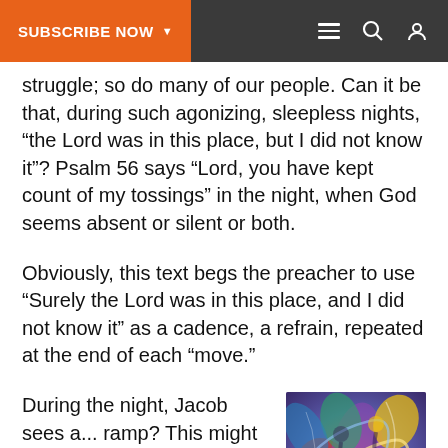SUBSCRIBE NOW ▼ [menu] [search] [user]
struggle; so do many of our people. Can it be that, during such agonizing, sleepless nights, “the Lord was in this place, but I did not know it”? Psalm 56 says “Lord, you have kept count of my tossings” in the night, when God seems absent or silent or both.
Obviously, this text begs the preacher to use “Surely the Lord was in this place, and I did not know it” as a cadence, a refrain, repeated at the end of each “move.”
During the night, Jacob sees a... ramp? This might be a better translation, but “ladder”
[Figure (illustration): Colorful abstract/figurative painting with swirling forms in blue, purple, red, orange, green and yellow tones, depicting figures in dynamic movement.]